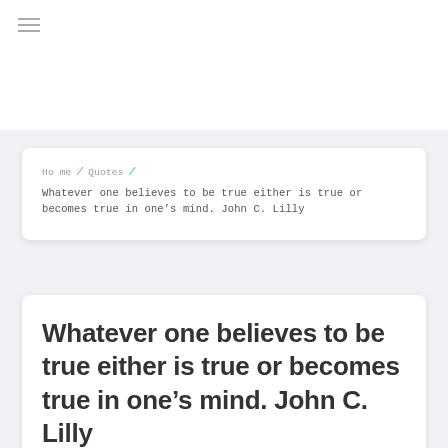≡ (hamburger menu icon)
Home / Quotes / Whatever one believes to be true either is true or becomes true in one's mind. John C. Lilly
Whatever one believes to be true either is true or becomes true in one's mind. John C. Lilly